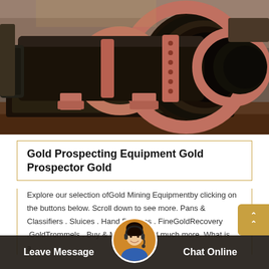[Figure (photo): Industrial rotary drum mill / ball mill machine in a factory setting. A large dark cylindrical drum with pink/rust-colored flange rings and mounting brackets sits on a metal frame. The machine opening faces right, showing a hollow cylindrical interior. Factory floor and machinery visible in background.]
Gold Prospecting Equipment Gold Prospector Gold
Explore our selection ofGold Mining Equipmentby clicking on the buttons below. Scroll down to see more. Pans & Classifiers . Sluices . Hand Dredges . FineGoldRecovery .GoldTrommels . Buy & MeltGold. and much more. What is a....
Leave Message   Chat Online